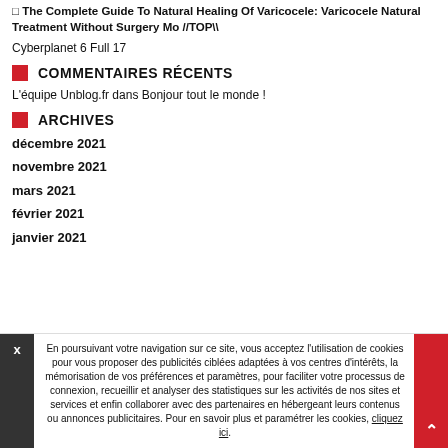The Complete Guide To Natural Healing Of Varicocele: Varicocele Natural Treatment Without Surgery Mo //TOP\\
Cyberplanet 6 Full 17
COMMENTAIRES RÉCENTS
L'équipe Unblog.fr dans Bonjour tout le monde !
ARCHIVES
décembre 2021
novembre 2021
mars 2021
février 2021
janvier 2021
En poursuivant votre navigation sur ce site, vous acceptez l'utilisation de cookies pour vous proposer des publicités ciblées adaptées à vos centres d'intérêts, la mémorisation de vos préférences et paramètres, pour faciliter votre processus de connexion, recueillir et analyser des statistiques sur les activités de nos sites et services et enfin collaborer avec des partenaires en hébergeant leurs contenus ou annonces publicitaires. Pour en savoir plus et paramétrer les cookies, cliquez ici.